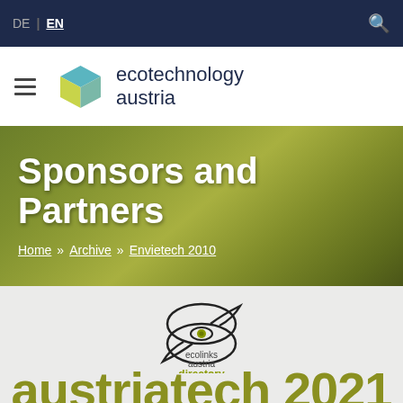DE | EN
[Figure (logo): Ecotechnology Austria logo with cube icon and text]
Sponsors and Partners
Home » Archive » Envietech 2010
[Figure (logo): Ecolinks Austria Directory logo with overlapping speech bubble eye design]
austri... 2021 (partial text visible at bottom)